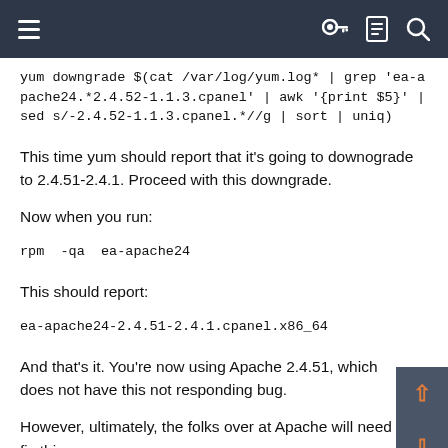Navigation bar with menu and search icons
yum downgrade $(cat /var/log/yum.log* | grep 'ea-apache24.*2.4.52-1.1.3.cpanel' | awk '{print $5}' | sed s/-2.4.52-1.1.3.cpanel.*//g | sort | uniq)
This time yum should report that it's going to downograde to 2.4.51-2.4.1. Proceed with this downgrade.
Now when you run:
rpm -qa ea-apache24
This should report:
ea-apache24-2.4.51-2.4.1.cpanel.x86_64
And that's it. You're now using Apache 2.4.51, which does not have this not responding bug.
However, ultimately, the folks over at Apache will need to fix this issue in Apache 2.4.52 so there are no more reports of the